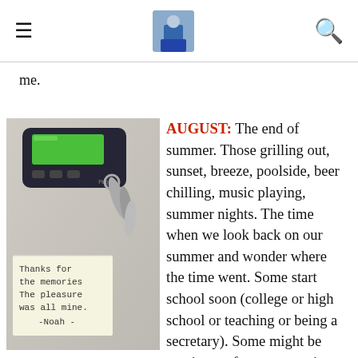Navigation header with hamburger menu, avatar image, and search icon
me.
[Figure (photo): A photo of a pager/beeper device with a green screen sitting on a light surface, next to a set of metal keys, and a handwritten note that reads: Thanks for the memories The pleasure was all mine. -Noah-]
AUGUST: The end of summer. Those grilling out, sunset, breeze, poolside, beer chilling, music playing, summer nights. The time when we look back on our summer and wonder where the time went. Some start school soon (college or high school or teaching or being a secretary). Some might be gearing up for sports again. Some might just look at is as another month. To me, it was a